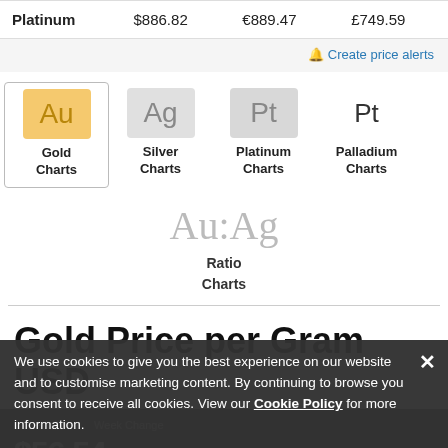|  | USD | EUR | GBP |
| --- | --- | --- | --- |
| Platinum | $886.82 | €889.47 | £749.59 |
🔔 Create price alerts
[Figure (infographic): Metal selector with four options: Au (Gold Charts, active), Ag (Silver Charts), Pt (Platinum Charts), Pt (Palladium Charts)]
[Figure (infographic): Au:Ag Ratio Charts selector]
Gold Price per Gram USD
Current Price  Week Change
$56.54  0.01%  $0.01
Week high $56.78  Week low $55.57
We use cookies to give you the best experience on our website and to customise marketing content. By continuing to browse you consent to receive all cookies. View our Cookie Policy for more information.